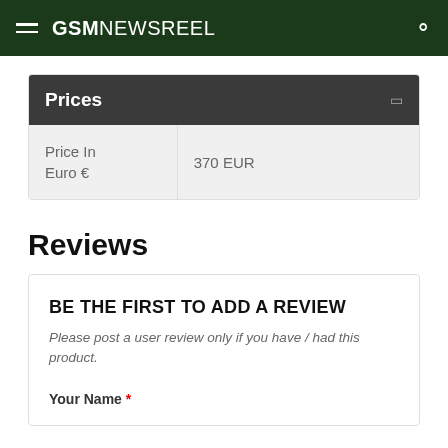GSM NEWSREEL
Prices
|  |  |
| --- | --- |
| Price In Euro € | 370 EUR |
Reviews
BE THE FIRST TO ADD A REVIEW
Please post a user review only if you have / had this product.
Your Name *